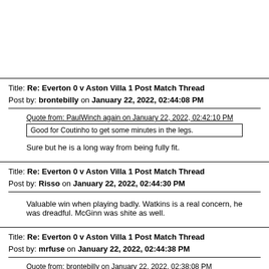Title: Re: Everton 0 v Aston Villa 1 Post Match Thread
Post by: brontebilly on January 22, 2022, 02:44:08 PM
Quote from: PaulWinch again on January 22, 2022, 02:42:10 PM
Good for Coutinho to get some minutes in the legs.
Sure but he is a long way from being fully fit.
Title: Re: Everton 0 v Aston Villa 1 Post Match Thread
Post by: Risso on January 22, 2022, 02:44:30 PM
Valuable win when playing badly. Watkins is a real concern, he was dreadful. McGinn was shite as well.
Title: Re: Everton 0 v Aston Villa 1 Post Match Thread
Post by: mrfuse on January 22, 2022, 02:44:38 PM
Quote from: brontebilly on January 22, 2022, 02:38:08 PM